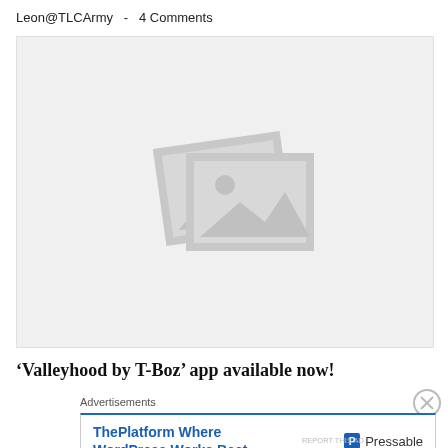Leon@TLCArmy  -  4 Comments
[Figure (illustration): Image placeholder graphic showing two overlapping photo thumbnails with a sun and mountain landscape icon, on a light gray background]
'Valleyhood by T-Boz' app available now!
Advertisements
[Figure (infographic): Advertisement for Pressable: 'ThePlatform Where WordPress Works Best' with Pressable logo on the right]